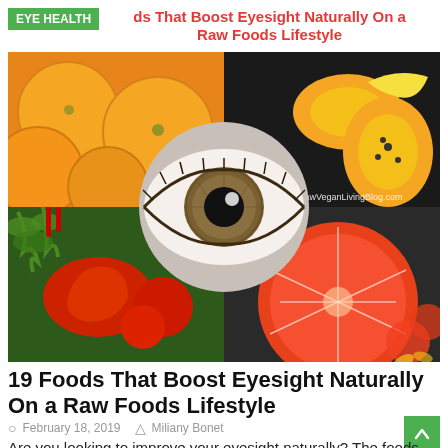EYE HEALTH
19 Foods That Boost Eyesight Naturally On a Raw Foods Lifestyle
[Figure (photo): Composite image of four food photos (oranges, papaya, vegetables with tomatoes and peppers, grapefruit) arranged in quadrants with a close-up eye in the center circle. Watermark: RawVeganLivingBlog.com]
19 Foods That Boost Eyesight Naturally On a Raw Foods Lifestyle
February 18, 2019   Miliany Bonet
Are you looking to improve your eyesight naturally? The foods